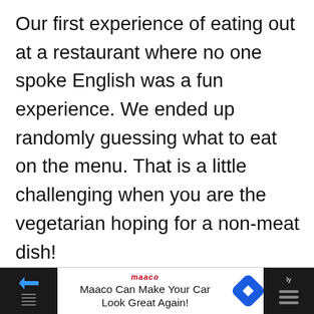Our first experience of eating out at a restaurant where no one spoke English was a fun experience. We ended up randomly guessing what to eat on the menu. That is a little challenging when you are the vegetarian hoping for a non-meat dish!
[Figure (screenshot): Social media UI overlay showing a heart/like button icon (dark circular button with white heart), like count '1.8K', and a share icon, overlapping the text below]
The little icons looked like they would be burgers and pizza. My boyfriend thought he was getting a cheeseburger and ended up dumplings. My sister thought she would end up with some kind of burger and
[Figure (screenshot): UI widget: WHAT'S NEXT arrow label with '26 Things You Can Only Bu...' and a UK flag emoji circle]
Maaco Can Make Your Car Look Great Again!